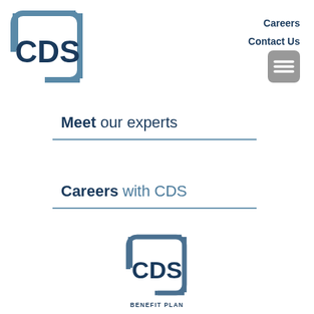[Figure (logo): CDS logo - dark blue square bracket shape with CDS text inside]
Careers
Contact Us
[Figure (other): Gray hamburger menu button with three white horizontal lines]
Meet our experts
Careers with CDS
[Figure (logo): CDS Benefit Plan logo - dark blue bracket shape with CDS text and BENEFIT PLAN below]